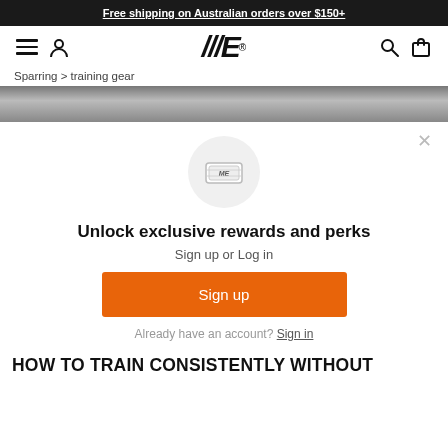Free shipping on Australian orders over $150+
[Figure (logo): ME brand logo with hamburger menu, user icon, search and bag icons]
Sparring > training gear
[Figure (photo): Blurred grayscale hero image strip]
[Figure (illustration): Rewards loyalty card icon in circular background]
Unlock exclusive rewards and perks
Sign up or Log in
Sign up
Already have an account? Sign in
HOW TO TRAIN CONSISTENTLY WITHOUT